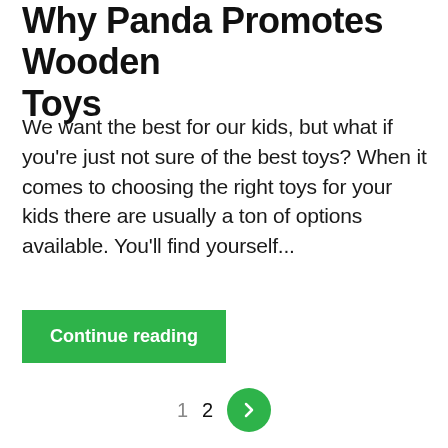Why Panda Promotes Wooden Toys
We want the best for our kids, but what if you're just not sure of the best toys? When it comes to choosing the right toys for your kids there are usually a ton of options available. You'll find yourself...
Continue reading
1  2  >